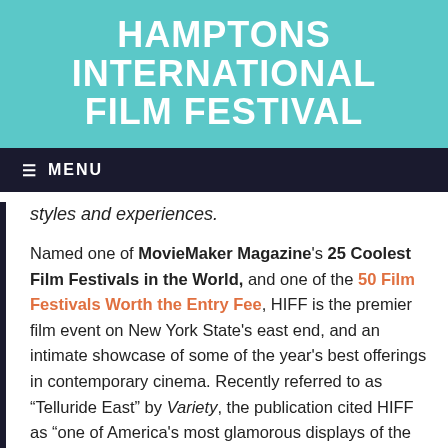[Figure (logo): Hamptons International Film Festival logo on teal background with white bold uppercase text]
≡  MENU
styles and experiences.
Named one of MovieMaker Magazine's 25 Coolest Film Festivals in the World, and one of the 50 Film Festivals Worth the Entry Fee, HIFF is the premier film event on New York State's east end, and an intimate showcase of some of the year's best offerings in contemporary cinema. Recently referred to as “Telluride East” by Variety, the publication cited HIFF as “one of America’s most glamorous displays of the best in cutting-edge cinema.”